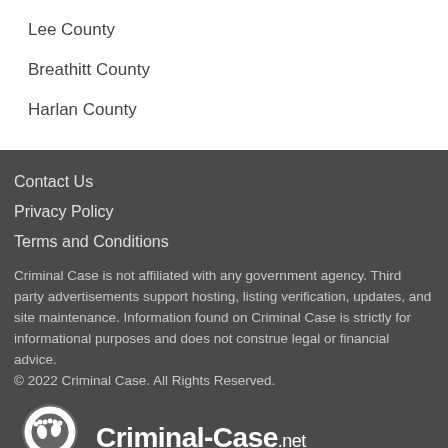Lee County
Breathitt County
Harlan County
Contact Us
Privacy Policy
Terms and Conditions
Criminal Case is not affiliated with any government agency. Third party advertisements support hosting, listing verification, updates, and site maintenance. Information found on Criminal Case is strictly for informational purposes and does not construe legal or financial advice.
© 2022 Criminal Case. All Rights Reserved.
[Figure (logo): Criminal-Case.net logo with magnifying glass over footprint icon]